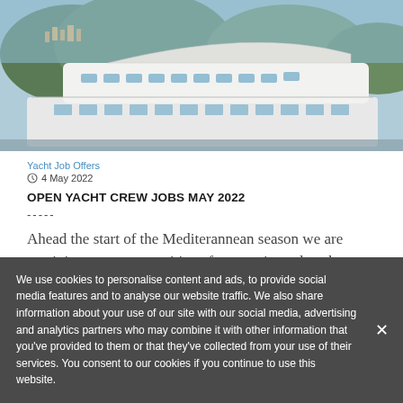[Figure (photo): Aerial/side view of a large luxury white superyacht moored at a marina, with hills and buildings visible in the background]
Yacht Job Offers
4 May 2022
OPEN YACHT CREW JOBS MAY 2022
-----
Ahead the start of the Mediterannean season we are receiving many top positions for experienced yacht crew.
...
We use cookies to personalise content and ads, to provide social media features and to analyse our website traffic. We also share information about your use of our site with our social media, advertising and analytics partners who may combine it with other information that you've provided to them or that they've collected from your use of their services. You consent to our cookies if you continue to use this website.